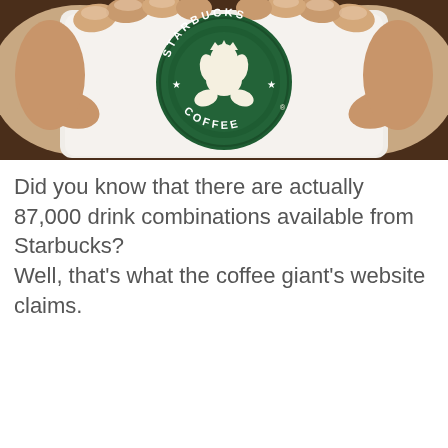[Figure (photo): Photo of two hands holding a white Starbucks Coffee mug. The mug displays the classic Starbucks logo with the green siren/mermaid emblem and the words STARBUCKS COFFEE around it.]
Did you know that there are actually 87,000 drink combinations available from Starbucks? Well, that’s what the coffee giant’s website claims.